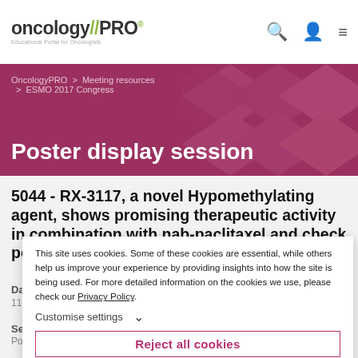oncology//PRO - Educational Portal for Oncologists
Poster display session
OncologyPRO > Meeting resources > ESMO 2017 Congress
5044 - RX-3117, a novel Hypomethylating agent, shows promising therapeutic activity in combination with nab-paclitaxel and check point inhibitors in preclinical models
Date
11 Sep 2017
Session
Poster display session
This site uses cookies. Some of these cookies are essential, while others help us improve your experience by providing insights into how the site is being used. For more detailed information on the cookies we use, please check our Privacy Policy.
Customise settings
Reject all cookies